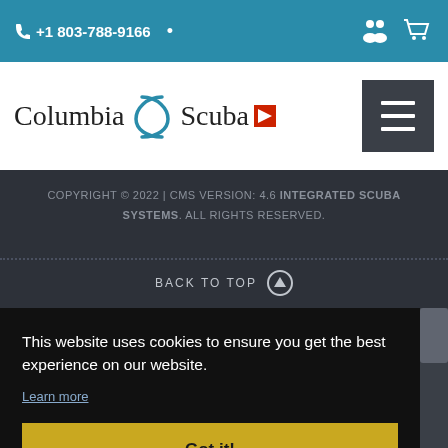+1 803-788-9166
[Figure (logo): Columbia Scuba logo with stylized wave and red dive flag triangle]
COPYRIGHT © 2022 | CMS VERSION: 4.6 INTEGRATED SCUBA SYSTEMS. ALL RIGHTS RESERVED.
BACK TO TOP
This website uses cookies to ensure you get the best experience on our website.
Learn more
Got it!